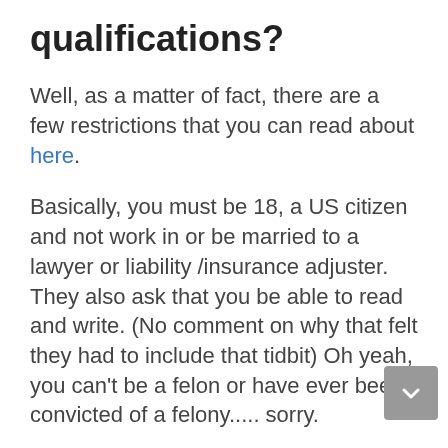qualifications?
Well, as a matter of fact, there are a few restrictions that you can read about here.
Basically, you must be 18, a US citizen and not work in or be married to a lawyer or liability /insurance adjuster. They also ask that you be able to read and write. (No comment on why that felt they had to include that tidbit) Oh yeah, you can't be a felon or have ever been convicted of a felony..... sorry.
If you fall short on their qualifications that's fine, you can find many other work-at-home opportunities where you can earn even more